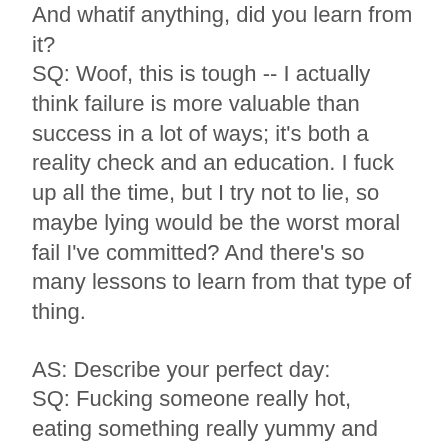And whatif anything, did you learn from it? SQ: Woof, this is tough -- I actually think failure is more valuable than success in a lot of ways; it's both a reality check and an education. I fuck up all the time, but I try not to lie, so maybe lying would be the worst moral fail I've committed? And there's so many lessons to learn from that type of thing.
AS: Describe your perfect day: SQ: Fucking someone really hot, eating something really yummy and reading something really good.
AS: How did you get where you are?